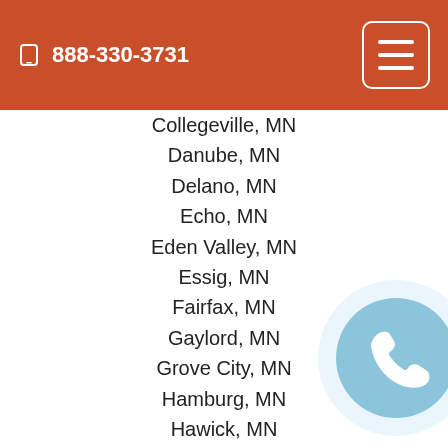📱 888-330-3731
Collegeville, MN
Danube, MN
Delano, MN
Echo, MN
Eden Valley, MN
Essig, MN
Fairfax, MN
Gaylord, MN
Grove City, MN
Hamburg, MN
Hawick, MN
Hector, MN
Kimball, MN
Lafayette, MN
Lake Lillian, MN
Maynard, MN
Montrose, MN
Morgan, MN
[Figure (illustration): A circular phone call button with a light blue background and white phone handset icon]